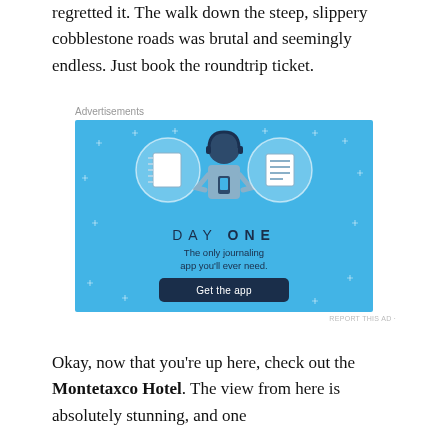regretted it. The walk down the steep, slippery cobblestone roads was brutal and seemingly endless. Just book the roundtrip ticket.
Advertisements
[Figure (illustration): Day One journaling app advertisement. Blue background with illustrated character holding a phone, flanked by two circular icons showing a notebook and a list. Text reads 'DAY ONE – The only journaling app you'll ever need.' with a dark 'Get the app' button.]
Okay, now that you're up here, check out the Montetaxco Hotel. The view from here is absolutely stunning, and one